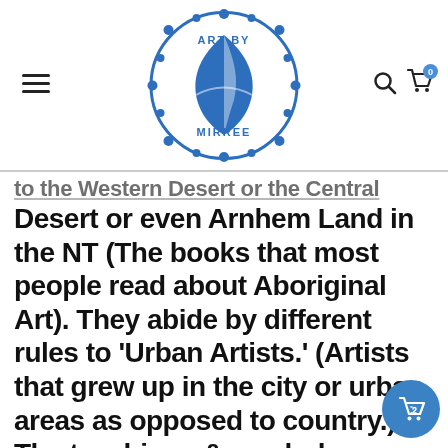[Figure (logo): Art By Mirree circular logo in blue with bird and text]
Art By Mirree website header with hamburger menu, centered logo, search and cart icons
to the Western Desert or the Central Desert or even Arnhem Land in the NT (The books that most people read about Aboriginal Art). They abide by different rules to 'Urban Artists.' (Artists that grew up in the city or urban areas as opposed to country.) The teachings & symbols vary greatly from Artist to Artist depending on background and how you grew up. The